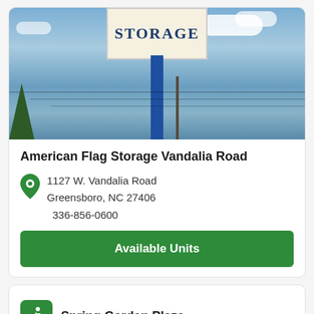[Figure (photo): Outdoor photo of a storage facility sign on a blue pole against a blue sky with clouds and trees in background]
American Flag Storage Vandalia Road
1127 W. Vandalia Road
Greensboro, NC 27406
336-856-0600
Available Units
Spring Garden Plaza